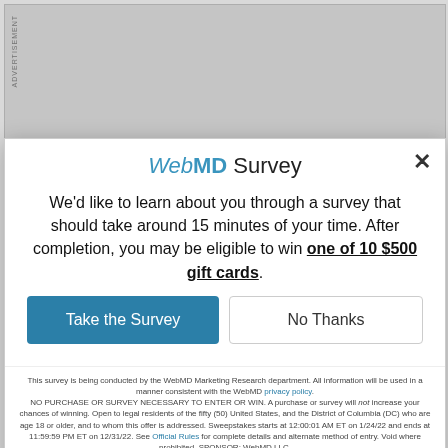[Figure (other): Advertisement banner placeholder, light gray rectangle with vertical 'ADVERTISEMENT' text on left side]
metabolites (i.e., in relationship site) may occur at some point in between each night's use. This may account for 2 clinical findin
WebMD Survey
We'd like to learn about you through a survey that should take around 15 minutes of your time. After completion, you may be eligible to win one of 10 $500 gift cards.
Take the Survey
No Thanks
This survey is being conducted by the WebMD Marketing Research department. All information will be used in a manner consistent with the WebMD privacy policy. NO PURCHASE OR SURVEY NECESSARY TO ENTER OR WIN. A purchase or survey will not increase your chances of winning. Open to legal residents of the fifty (50) United States, and the District of Columbia (DC) who are age 18 or older, and to whom this offer is addressed. Sweepstakes starts at 12:00:01 AM ET on 1/24/22 and ends at 11:59:59 PM ET on 12/31/22. See Official Rules for complete details and alternate method of entry. Void where prohibited. SPONSOR: WebMD LLC.